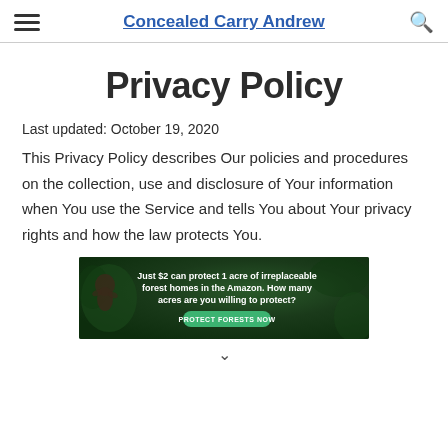Concealed Carry Andrew
Privacy Policy
Last updated: October 19, 2020
This Privacy Policy describes Our policies and procedures on the collection, use and disclosure of Your information when You use the Service and tells You about Your privacy rights and how the law protects You.
[Figure (infographic): Advertisement banner for Amazon forest protection: 'Just $2 can protect 1 acre of irreplaceable forest homes in the Amazon. How many acres are you willing to protect?' with a green PROTECT FORESTS NOW button and a dark forest background with an animal image.]